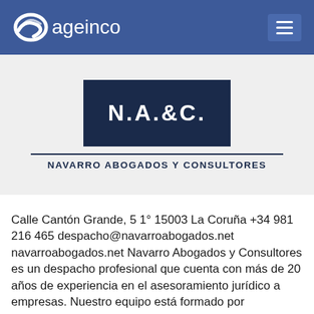ageinco
[Figure (logo): N.A.&C. logo box with dark navy background and white text, above text reading NAVARRO ABOGADOS Y CONSULTORES]
Calle Cantón Grande, 5 1° 15003 La Coruña +34 981 216 465 despacho@navarroabogados.net navarroabogados.net Navarro Abogados y Consultores es un despacho profesional que cuenta con más de 20 años de experiencia en el asesoramiento jurídico a empresas. Nuestro equipo está formado por excelentes profesionales que